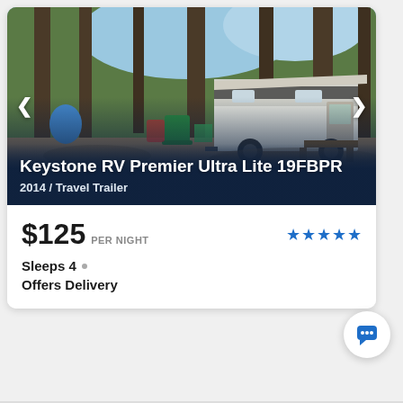[Figure (photo): Outdoor campsite photo showing a white Keystone RV travel trailer parked among tall pine trees, with green camping chairs in the foreground and dappled sunlight. Navigation arrows on left and right sides of image.]
Keystone RV Premier Ultra Lite 19FBPR
2014 / Travel Trailer
$125 PER NIGHT
Sleeps 4
Offers Delivery